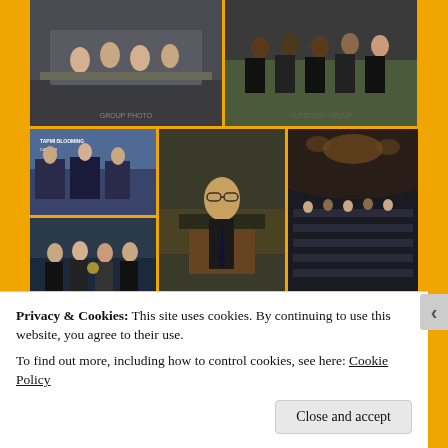[Figure (photo): Grid of event photos from a management institute (T.A. Pai Management Institute). Top row: two group photos of students in formal attire at a conference table and outdoors. Middle row: three photos including a panel discussion/event stage, a man speaking at a conference, and a large auditorium gathering of students. Bottom row: three event photos including an SMIC 2016 logo/event signage with spotlight, a green circular board game or activity, and a FINOMENAL 201 event banner.]
Privacy & Cookies: This site uses cookies. By continuing to use this website, you agree to their use.
To find out more, including how to control cookies, see here: Cookie Policy